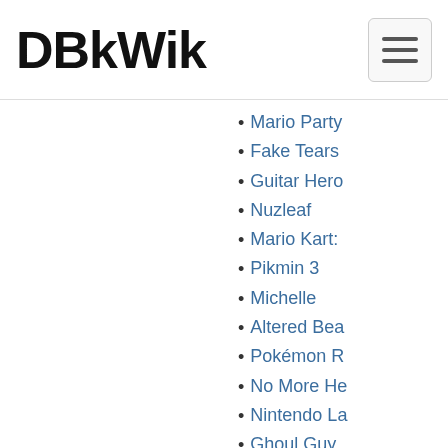DBkWik
Mario Party
Fake Tears
Guitar Hero
Nuzleaf
Mario Kart:
Pikmin 3
Michelle
Altered Bea
Pokémon R
No More He
Nintendo La
Ghoul Guy
Dual Chop
Wii
List of Ninte America)
Paper Mario
dbkwik:resou
dbkwik:resou
Haunter